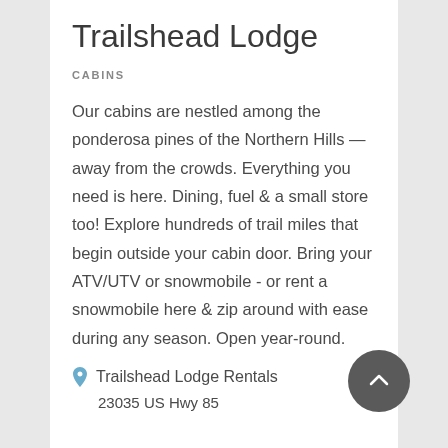Trailshead Lodge
CABINS
Our cabins are nestled among the ponderosa pines of the Northern Hills — away from the crowds. Everything you need is here. Dining, fuel & a small store too! Explore hundreds of trail miles that begin outside your cabin door. Bring your ATV/UTV or snowmobile - or rent a snowmobile here & zip around with ease during any season. Open year-round.
Trailshead Lodge Rentals
23035 US Hwy 85